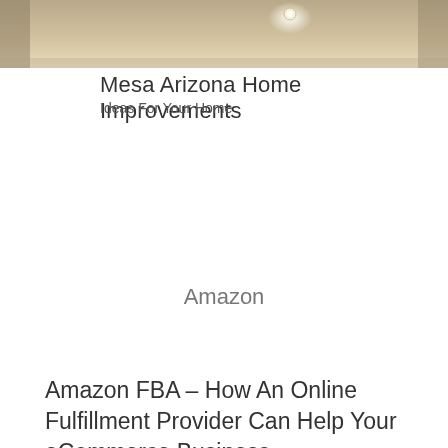[Figure (photo): Interior room photo showing ceiling with recessed lighting, beige/cream tones, partial view of a home interior]
Mesa Arizona Home Improvements
Ideas For Your Home
Amazon
Amazon FBA – How An Online Fulfillment Provider Can Help Your eCommerce Business